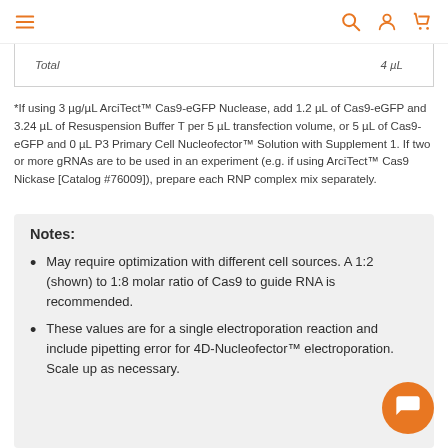Navigation bar with menu, search, account, and cart icons
| Total |  |
| --- | --- |
| Total | 4 µL |
*If using 3 µg/µL ArciTect™ Cas9-eGFP Nuclease, add 1.2 µL of Cas9-eGFP and 3.24 µL of Resuspension Buffer T per 5 µL transfection volume, or 5 µL of Cas9-eGFP and 0 µL P3 Primary Cell Nucleofector™ Solution with Supplement 1. If two or more gRNAs are to be used in an experiment (e.g. if using ArciTect™ Cas9 Nickase [Catalog #76009]), prepare each RNP complex mix separately.
Notes:
May require optimization with different cell sources. A 1:2 (shown) to 1:8 molar ratio of Cas9 to guide RNA is recommended.
These values are for a single electroporation reaction and include pipetting error for 4D-Nucleofector™ electroporation. Scale up as necessary.